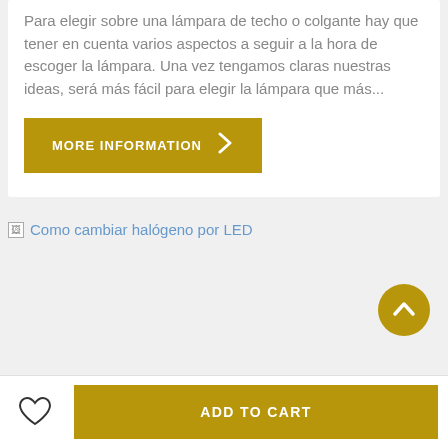Para elegir sobre una lámpara de techo o colgante hay que tener en cuenta varios aspectos a seguir a la hora de escoger la lámpara. Una vez tengamos claras nuestras ideas, será más fácil para elegir la lámpara que más...
[Figure (other): Golden button labeled MORE INFORMATION with a right-pointing chevron arrow]
[Figure (other): Broken image placeholder with alt text: Como cambiar halógeno por LED]
[Figure (other): Golden circular scroll-to-top button with an upward-pointing chevron]
[Figure (other): Bottom bar with heart/wishlist icon and ADD TO CART golden button]